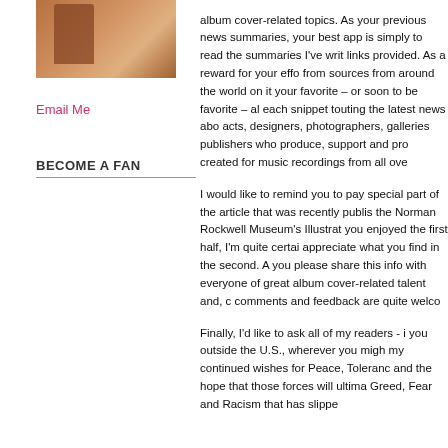[Figure (photo): A photograph of a person, partially visible, warm brown/orange tones]
Email Me
BECOME A FAN
album cover-related topics. As your previous news summaries, your best approach is simply to read the summaries I've written, links provided. As a reward for your effort, from sources from around the world on it, your favorite – or soon to be favorite – al each snippet touting the latest news about acts, designers, photographers, galleries, publishers who produce, support and pro created for music recordings from all over
I would like to remind you to pay special part of the article that was recently publis the Norman Rockwell Museum's Illustrat you enjoyed the first half, I'm quite certain appreciate what you find in the second. A you please share this info with everyone of great album cover-related talent and, comments and feedback are quite welco
Finally, I'd like to ask all of my readers - you outside the U.S., wherever you migh my continued wishes for Peace, Toleranc and the hope that those forces will ultima Greed, Fear and Racism that has slippe